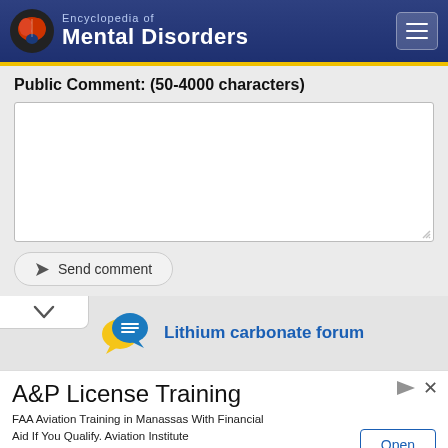Encyclopedia of Mental Disorders
Public Comment: (50-4000 characters)
[Figure (screenshot): Public comment text area input box, empty, with resize handle]
Send comment
Lithium carbonate forum
A&P License Training
FAA Aviation Training in Manassas With Financial Aid If You Qualify. Aviation Institute
Open